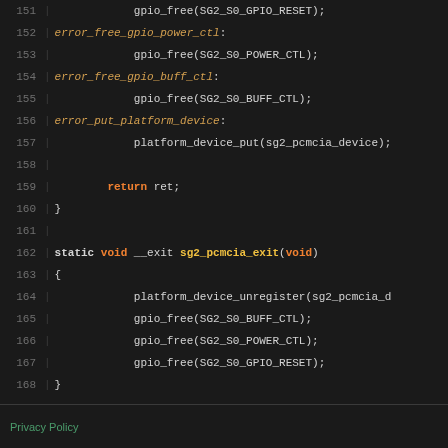[Figure (screenshot): Source code editor screenshot showing lines 151-174 of a C kernel module file for sg2 PCMCIA driver, with syntax highlighting on dark background]
Privacy Policy